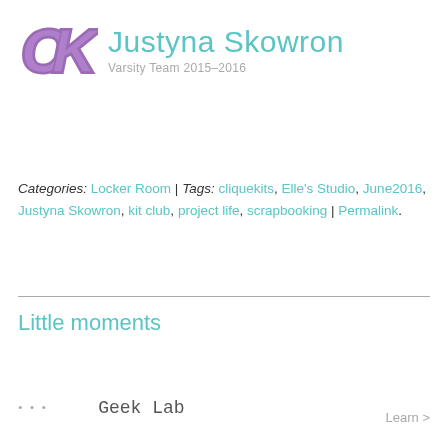[Figure (logo): CK varsity letter logo in purple with Justyna Skowron name in teal and Varsity Team 2015-2016 subtitle in grey]
Categories: Locker Room | Tags: cliquekits, Elle's Studio, June2016, Justyna Skowron, kit club, project life, scrapbooking | Permalink.
Little moments
Geek Lab